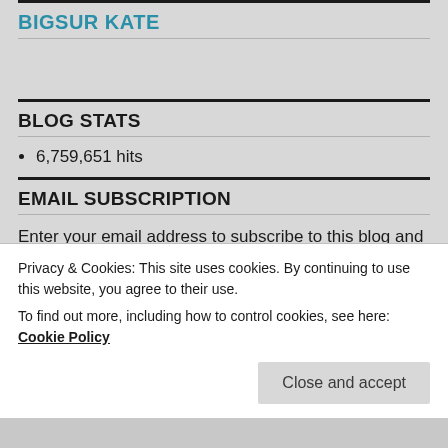BIGSUR KATE
BLOG STATS
6,759,651 hits
EMAIL SUBSCRIPTION
Enter your email address to subscribe to this blog and receive notifications of new posts by email.
Privacy & Cookies: This site uses cookies. By continuing to use this website, you agree to their use. To find out more, including how to control cookies, see here: Cookie Policy
Close and accept